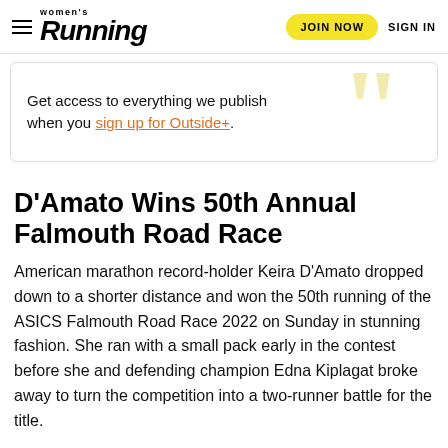Women's Running | JOIN NOW | SIGN IN
Get access to everything we publish when you sign up for Outside+.
D'Amato Wins 50th Annual Falmouth Road Race
American marathon record-holder Keira D'Amato dropped down to a shorter distance and won the 50th running of the ASICS Falmouth Road Race 2022 on Sunday in stunning fashion. She ran with a small pack early in the contest before she and defending champion Edna Kiplagat broke away to turn the competition into a two-runner battle for the title.
The American made a decisive move with about 1 mile left in